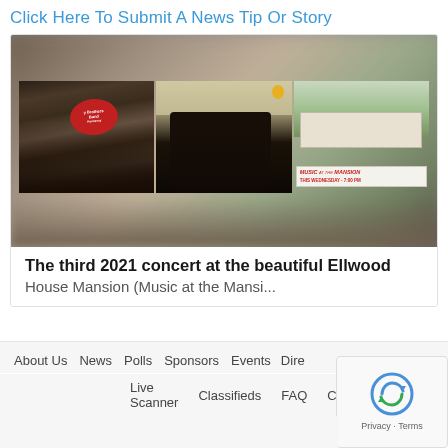Click Here To Submit A News Tip Or Story
[Figure (photo): A photo collage showing three images: left – a band playing with a circular Brothers Band sign; center – two young girls in black dresses holding instruments; right – a mansion with a red banner reading 'Music at the Mansion This Wednesday · 7:00 pm']
The third 2021 concert at the beautiful Ellwood House Mansion (Music at the Mansi...
About Us   News   Polls   Sponsors   Events   Dire...   Live Scanner   Classifieds   FAQ   Contact   Privacy · Terms